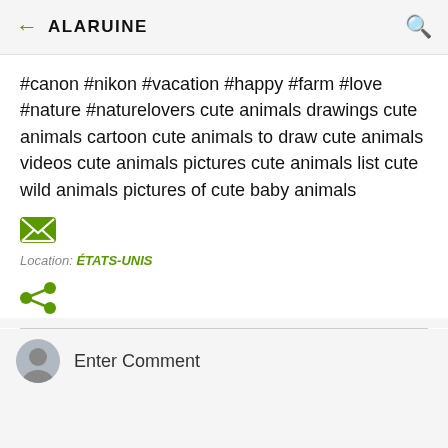ALARUINE
#canon #nikon #vacation #happy #farm #love #nature #naturelovers cute animals drawings cute animals cartoon cute animals to draw cute animals videos cute animals pictures cute animals list cute wild animals pictures of cute baby animals
Location: ÉTATS-UNIS
Enter Comment